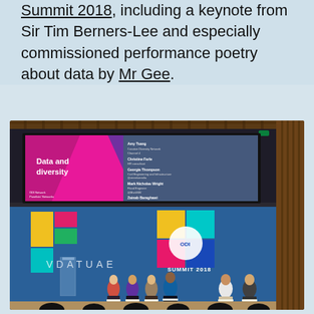Summit 2018, including a keynote from Sir Tim Berners-Lee and especially commissioned performance poetry about data by Mr Gee.
[Figure (photo): Photo from ODI Summit 2018: top half shows a presentation screen with 'Data and diversity' slide listing panelists; bottom half shows six panelists seated in chairs on a stage with colorful ODI Summit 2018 branding backdrop.]